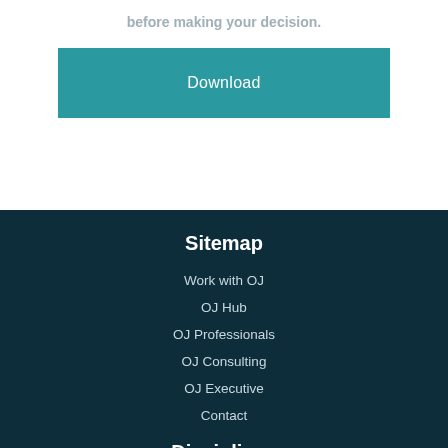before making your decision.
Download
Sitemap
Work with OJ
OJ Hub
OJ Professionals
OJ Consulting
OJ Executive
Contact
Disciplines
Technology